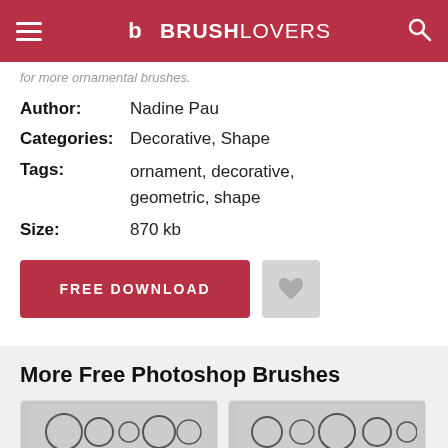BRUSHLOVERS
for more ornamental brushes.
Author: Nadine Pau
Categories: Decorative, Shape
Tags: ornament, decorative, geometric, shape
Size: 870 kb
FREE DOWNLOAD
More Free Photoshop Brushes
[Figure (photo): Two thumbnail images of Photoshop brush sets showing ornamental/circular designs]